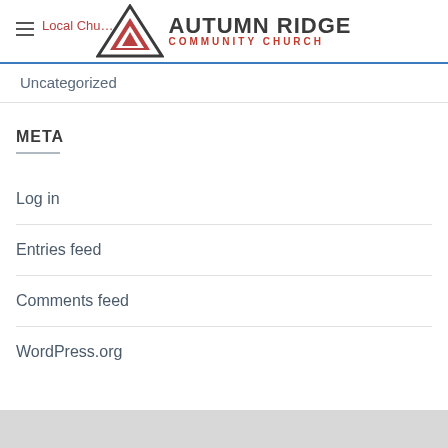Autumn Ridge Community Church — Local Church navigation header with logo
Uncategorized
META
Log in
Entries feed
Comments feed
WordPress.org